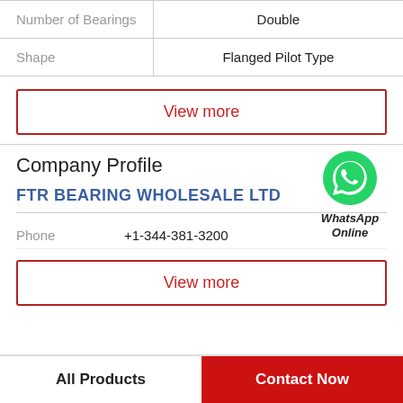|  |  |
| --- | --- |
| Number of Bearings | Double |
| Shape | Flanged Pilot Type |
View more
Company Profile
FTR BEARING WHOLESALE LTD
[Figure (logo): WhatsApp green circle icon with phone handset, labeled WhatsApp Online]
Phone  +1-344-381-3200
View more
All Products   Contact Now